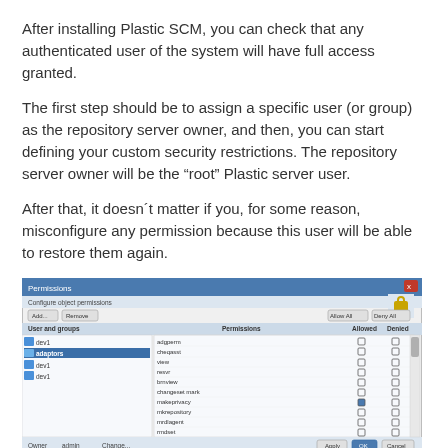After installing Plastic SCM, you can check that any authenticated user of the system will have full access granted.
The first step should be to assign a specific user (or group) as the repository server owner, and then, you can start defining your custom security restrictions. The repository server owner will be the “root” Plastic server user.
After that, it doesn´t matter if you, for some reason, misconfigure any permission because this user will be able to restore them again.
[Figure (screenshot): Screenshot of a Plastic SCM Permissions dialog window showing a list of user and group permissions with columns for Allowed and Denied checkboxes, along with buttons like Add, Remove, Allow All, Deny All, Apply, OK, and Cancel.]